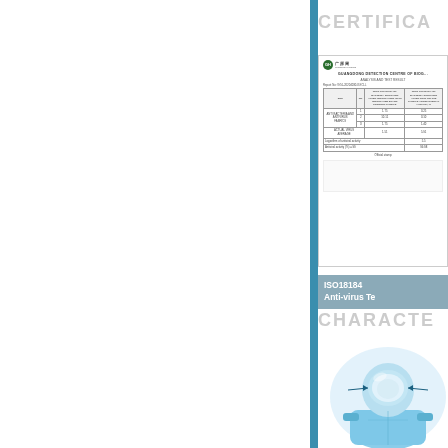CERTIFICA...
[Figure (table-as-image): Guangdong Detection Centre of Biological document - Analysis and Test Result table with logo, report number, test items, and results]
ISO18184 Anti-virus Te...
CHARACTE...